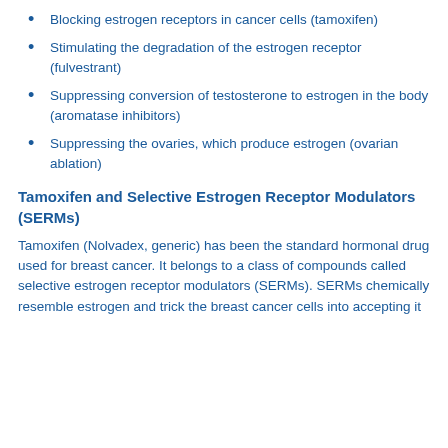Blocking estrogen receptors in cancer cells (tamoxifen)
Stimulating the degradation of the estrogen receptor (fulvestrant)
Suppressing conversion of testosterone to estrogen in the body (aromatase inhibitors)
Suppressing the ovaries, which produce estrogen (ovarian ablation)
Tamoxifen and Selective Estrogen Receptor Modulators (SERMs)
Tamoxifen (Nolvadex, generic) has been the standard hormonal drug used for breast cancer. It belongs to a class of compounds called selective estrogen receptor modulators (SERMs). SERMs chemically resemble estrogen and trick the breast cancer cells into accepting it